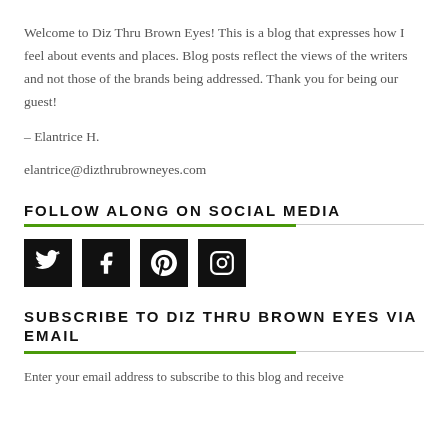Welcome to Diz Thru Brown Eyes! This is a blog that expresses how I feel about events and places. Blog posts reflect the views of the writers and not those of the brands being addressed. Thank you for being our guest!
– Elantrice H.
elantrice@dizthrubrowneyes.com
FOLLOW ALONG ON SOCIAL MEDIA
[Figure (infographic): Four social media icon buttons (Twitter, Facebook, Pinterest, Instagram) displayed as white icons on black square backgrounds]
SUBSCRIBE TO DIZ THRU BROWN EYES VIA EMAIL
Enter your email address to subscribe to this blog and receive